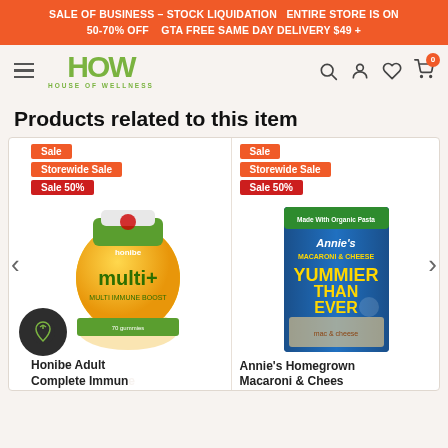SALE OF BUSINESS – STOCK LIQUIDATION  ENTIRE STORE IS ON 50-70% OFF   GTA FREE SAME DAY DELIVERY $49 +
[Figure (logo): House of Wellness HOW logo with navigation icons (search, account, wishlist, cart with 0 badge)]
Products related to this item
[Figure (screenshot): Product carousel showing two items: 1) Honibe Adult Complete Immune multi+ multivitamin with Sale, Storewide Sale, Sale 50% badges. 2) Annie's Homegrown Macaroni & Cheese Yummier Than Ever with Sale, Storewide Sale, Sale 50% badges. Left and right navigation arrows visible.]